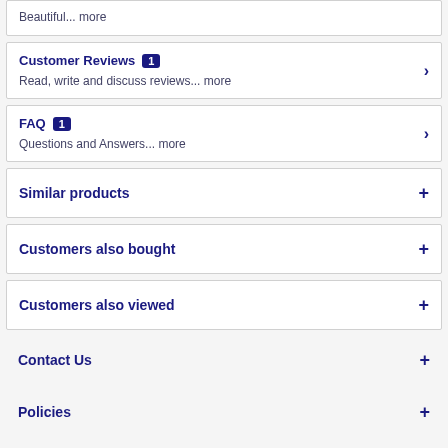Beautiful... more
Customer Reviews 1
Read, write and discuss reviews... more
FAQ 1
Questions and Answers... more
Similar products
Customers also bought
Customers also viewed
Contact Us
Policies